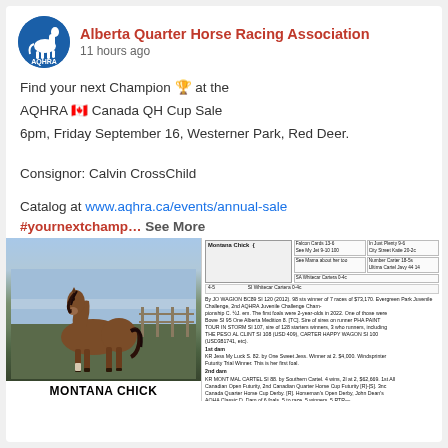Alberta Quarter Horse Racing Association — 11 hours ago
Find your next Champion 🏆 at the AQHRA 🇨🇦 Canada QH Cup Sale
6pm, Friday September 16, Westerner Park, Red Deer.
Consignor: Calvin CrossChild
Catalog at www.aqhra.ca/events/annual-sale
#yournextchamp… See More
[Figure (photo): A bay horse standing in a field/pen with a sky background. Below the photo is a white bar with 'MONTANA CHICK' in bold black text. To the right is a pedigree/catalog information panel with small text about the horse's bloodlines and race record.]